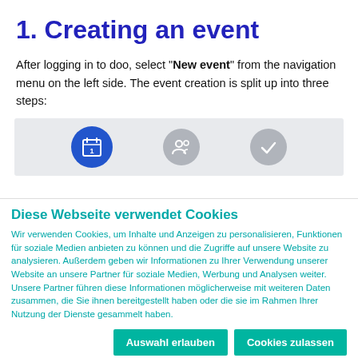1. Creating an event
After logging in to doo, select "New event" from the navigation menu on the left side. The event creation is split up into three steps:
[Figure (screenshot): Screenshot strip showing three step icons: a blue circle with calendar icon (active/step 1), a gray circle with attendees icon, and a gray circle with checkmark icon.]
Diese Webseite verwendet Cookies
Wir verwenden Cookies, um Inhalte und Anzeigen zu personalisieren, Funktionen für soziale Medien anbieten zu können und die Zugriffe auf unsere Website zu analysieren. Außerdem geben wir Informationen zu Ihrer Verwendung unserer Website an unsere Partner für soziale Medien, Werbung und Analysen weiter. Unsere Partner führen diese Informationen möglicherweise mit weiteren Daten zusammen, die Sie ihnen bereitgestellt haben oder die sie im Rahmen Ihrer Nutzung der Dienste gesammelt haben.
Auswahl erlauben | Cookies zulassen
Notwendig  Präferenzen  Statistiken  Marketing  Details zeigen